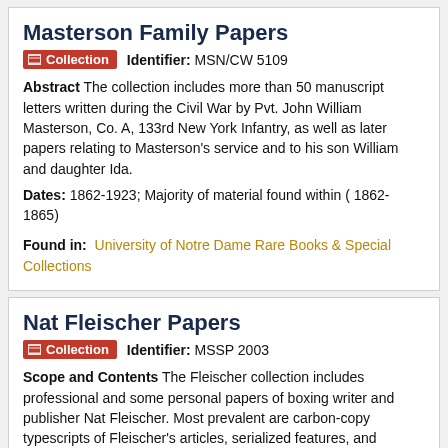Masterson Family Papers
Collection   Identifier: MSN/CW 5109
Abstract The collection includes more than 50 manuscript letters written during the Civil War by Pvt. John William Masterson, Co. A, 133rd New York Infantry, as well as later papers relating to Masterson's service and to his son William and daughter Ida.
Dates: 1862-1923; Majority of material found within ( 1862-1865)
Found in:  University of Notre Dame Rare Books & Special Collections
Nat Fleischer Papers
Collection   Identifier: MSSP 2003
Scope and Contents The Fleischer collection includes professional and some personal papers of boxing writer and publisher Nat Fleischer. Most prevalent are carbon-copy typescripts of Fleischer's articles, serialized features, and